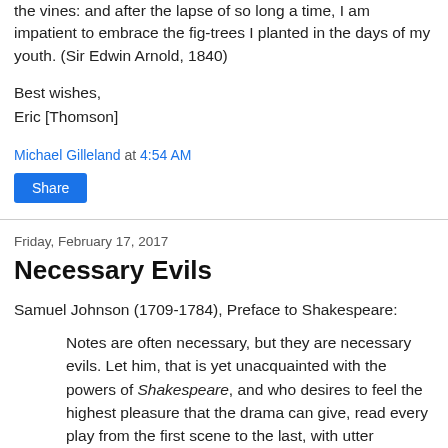the vines: and after the lapse of so long a time, I am impatient to embrace the fig-trees I planted in the days of my youth. (Sir Edwin Arnold, 1840)
Best wishes,
Eric [Thomson]
Michael Gilleland at 4:54 AM
Share
Friday, February 17, 2017
Necessary Evils
Samuel Johnson (1709-1784), Preface to Shakespeare:
Notes are often necessary, but they are necessary evils. Let him, that is yet unacquainted with the powers of Shakespeare, and who desires to feel the highest pleasure that the drama can give, read every play from the first scene to the last, with utter negligence of all his